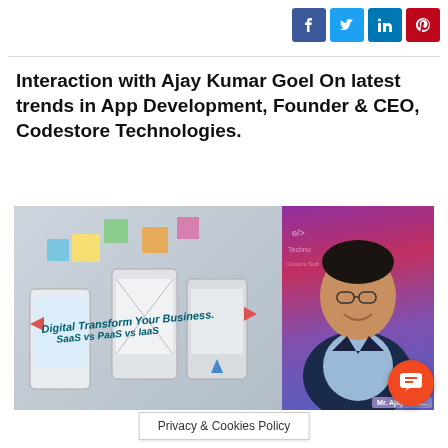[Figure (other): Social media share icons: Facebook (blue), Twitter (light blue), LinkedIn (blue), Pinterest (red)]
Interaction with Ajay Kumar Goel On latest trends in App Development, Founder & CEO, Codestore Technologies.
[Figure (photo): Composite image showing mobile app UI sketches with text 'Digital Transform Your Business.' and 'SaaS vs PaaS vs IaaS' overlaid, alongside a photo of Mr. Ajay Kumar Goel, Founder & CEO of Codestore Technologies, smiling in professional attire in front of a branded backdrop.]
Privacy & Cookies Policy